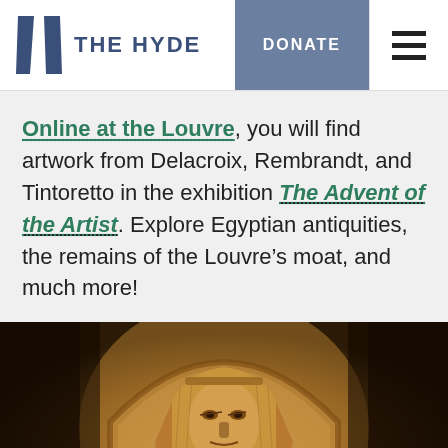THE HYDE | DONATE
Online at the Louvre, you will find artwork from Delacroix, Rembrandt, and Tintoretto in the exhibition The Advent of the Artist. Explore Egyptian antiquities, the remains of the Louvre’s moat, and much more!
[Figure (photo): A large Egyptian sphinx statue in sandy brown stone, displayed in a dimly lit arched alcove with warm amber lighting.]